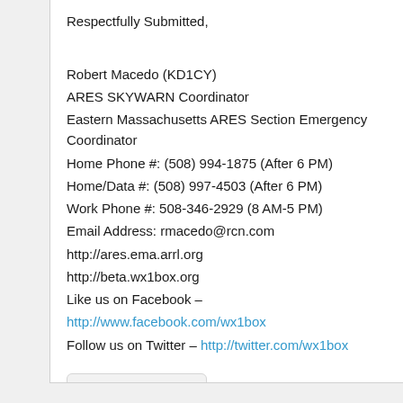Respectfully Submitted,

Robert Macedo (KD1CY)
ARES SKYWARN Coordinator
Eastern Massachusetts ARES Section Emergency Coordinator
Home Phone #: (508) 994-1875 (After 6 PM)
Home/Data #: (508) 997-4503 (After 6 PM)
Work Phone #: 508-346-2929 (8 AM-5 PM)
Email Address: rmacedo@rcn.com
http://ares.ema.arrl.org
http://beta.wx1box.org
Like us on Facebook – http://www.facebook.com/wx1box
Follow us on Twitter – http://twitter.com/wx1box
Read more